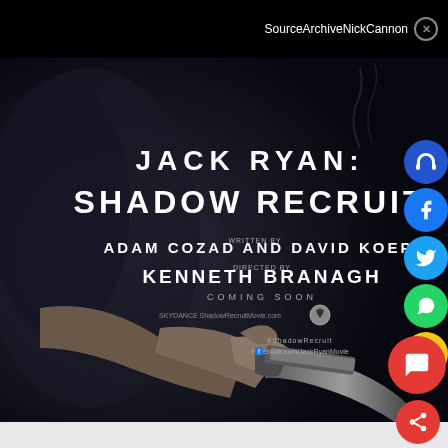SourceArchiveNickCannon ×
[Figure (photo): Movie poster for Jack Ryan: Shadow Recruit. Shows a hand gripping a gun against a dark background. Text reads: JACK RYAN: SHADOW RECRUIT, WRITTEN BY ADAM COZAD AND DAVID KOEPP, DIRECTED BY KENNETH BRANAGH, COMING SOON, ShadowRecruitMovie.com, #ShadowRecruit, Facebook.com/JackRyanMovie]
SourceArchiveNickCannon